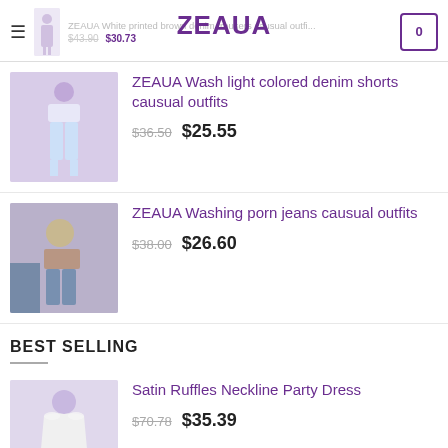ZEAUA — ZEAUA White printed brown denim trousers causual outfits $43.90 $30.73
ZEAUA Wash light colored denim shorts causual outfits — $36.50 $25.55
ZEAUA Washing porn jeans causual outfits — $38.00 $26.60
BEST SELLING
Satin Ruffles Neckline Party Dress — $70.78 $35.39
Shimmer and Shine Sequin Dress — $49.94 $34.97